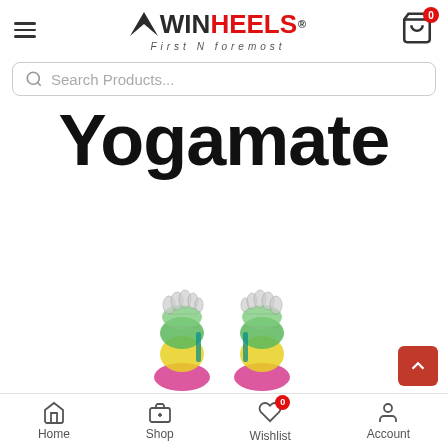WIN HEELS — First N foremost
Search Products...
Yogamate
[Figure (illustration): Two illustrated foot diagrams (yoga/reflexology feet) showing colored zones: pink heel, yellow arch, green toes area, with anatomical detail lines. Shown side by side like a pair of sandal footbeds.]
Home  Shop  Wishlist 0  Account